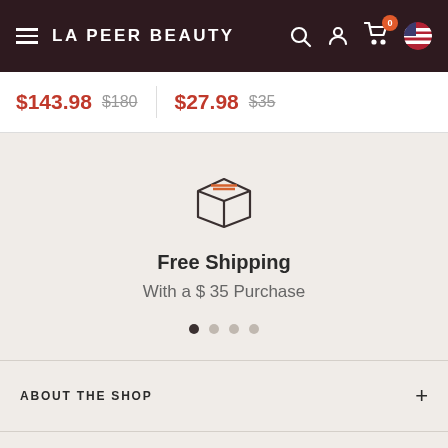LA PEER BEAUTY
$143.98  $180  $27.98  $35
[Figure (illustration): Package/box icon with orange stripe lines on top, outline style]
Free Shipping
With a $ 35 Purchase
Carousel dots: 4 dots, first filled dark, rest lighter
ABOUT THE SHOP  +
POPULAR COLLECTIONS  +